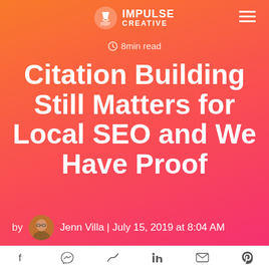IMPULSE CREATIVE
8min read
Citation Building Still Matters for Local SEO and We Have Proof
by Jenn Villa | July 15, 2019 at 8:04 AM
Social share icons: Facebook, Messenger, Twitter, LinkedIn, Email, Pinterest